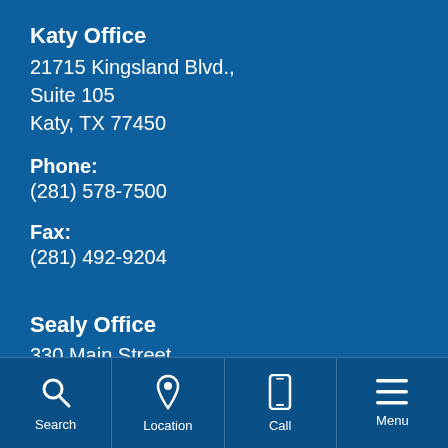Katy Office
21715 Kingsland Blvd., Suite 105 Katy, TX 77450
Phone:
(281) 578-7500
Fax:
(281) 492-9204
Sealy Office
330 Main Street Suite 1C Sealy, TX 77474
Search  Location  Call  Menu